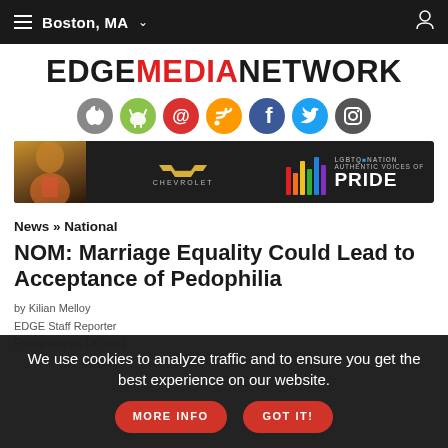Boston, MA
[Figure (logo): EDGE MEDIA NETWORK logo with MEDIA in red]
[Figure (infographic): Social media icons: Apple, Android, Email, RSS, Facebook, Twitter, Instagram]
[Figure (photo): Advertisement: Chevrolet / LGBTQ Nation - Authentic Voices of PRIDE banner with woman in pink]
News » National
NOM: Marriage Equality Could Lead to Acceptance of Pedophilia
by Kilian Melloy
EDGE Staff Reporter
Friday August 19, 2011
We use cookies to analyze traffic and to ensure you get the best experience on our website. MORE INFO GOT IT!